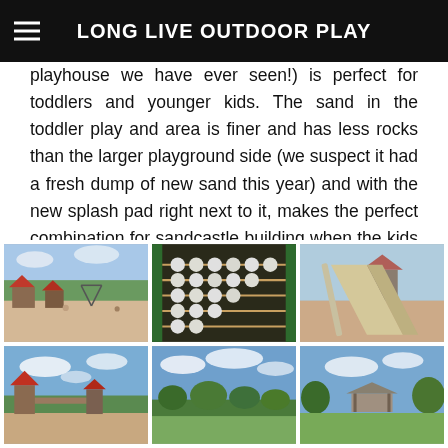LONG LIVE OUTDOOR PLAY
playhouse we have ever seen!) is perfect for toddlers and younger kids. The sand in the toddler play and area is finer and has less rocks than the larger playground side (we suspect it had a fresh dump of new sand this year) and with the new splash pad right next to it, makes the perfect combination for sandcastle building when the kids are tired of sliding, swinging or climbing. It's a great local park and has amazing grassy shaded areas in the trees for picnics too! I just wish there was a seasonal washroom here when we visited....maybe next year?
[Figure (photo): Outdoor playground with sand, red-roofed structures and swing set]
[Figure (photo): Close-up of abacus/bead panel on playground equipment with green frame]
[Figure (photo): Plastic slide at playground with red-roofed structure in background]
[Figure (photo): Wide view of playground with red-roofed tower and blue sky]
[Figure (photo): Park landscape with trees and blue cloudy sky]
[Figure (photo): Park area with trees, gazebo or shelter visible in distance]